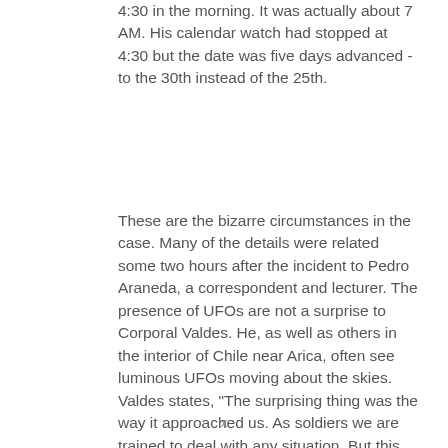4:30 in the morning. It was actually about 7 AM. His calendar watch had stopped at 4:30 but the date was five days advanced - to the 30th instead of the 25th.
These are the bizarre circumstances in the case. Many of the details were related some two hours after the incident to Pedro Araneda, a correspondent and lecturer. The presence of UFOs are not a surprise to Corporal Valdes. He, as well as others in the interior of Chile near Arica, often see luminous UFOs moving about the skies. Valdes states, "The surprising thing was the way it approached us. As soldiers we are trained to deal with any situation. But this phenomenon didn't seem to have any logical explanation. I would like to regain my memory of the fifty minutes that...
x